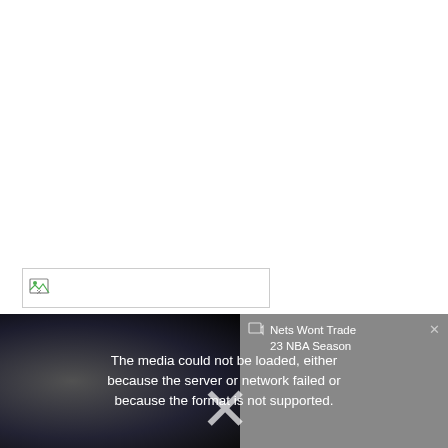[Figure (other): Broken image placeholder — a small broken image icon inside a rectangular box with a thin border, positioned in the upper-left quadrant of the page.]
[Figure (other): Accessibility button — a blue circular button with a white accessibility (person) icon, positioned on the right edge of the page.]
[Figure (other): Video player error overlay showing: 'The media could not be loaded, either because the server or network failed or because the format is not supported.' with a large X below the text. To the right is a gray sidebar showing 'Nets Wont Trade' and '23 NBA Season' text.]